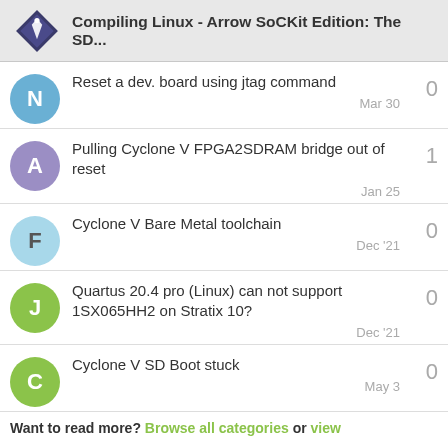Compiling Linux - Arrow SoCKit Edition: The SD...
Reset a dev. board using jtag command — 0 replies — Mar 30
Pulling Cyclone V FPGA2SDRAM bridge out of reset — 1 reply — Jan 25
Cyclone V Bare Metal toolchain — 0 replies — Dec '21
Quartus 20.4 pro (Linux) can not support 1SX065HH2 on Stratix 10? — 0 replies — Dec '21
Cyclone V SD Boot stuck — 0 replies — May 3
Want to read more? Browse all categories or view